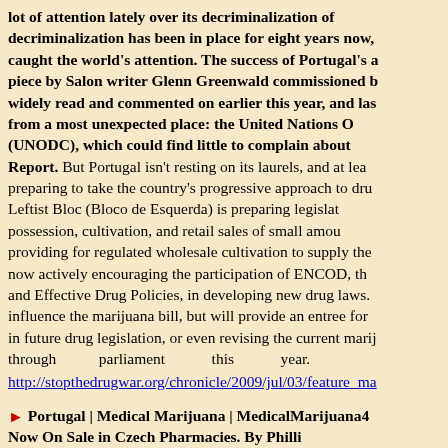lot of attention lately over its decriminalization of drugs. Portugal's decriminalization has been in place for eight years now, and it has definitely caught the world's attention. The success of Portugal's approach got a big piece by Salon writer Glenn Greenwald commissioned by the Cato Institute, widely read and commented on earlier this year, and last week came praise from a most unexpected place: the United Nations Office on Drugs and Crime (UNODC), which could find little to complain about in its World Drug Report. But Portugal isn't resting on its laurels, and at least one party is preparing to take the country's progressive approach to drug policy further. The Leftist Bloc (Bloco de Esquerda) is preparing legislation to decriminalize possession, cultivation, and retail sales of small amounts of marijuana while providing for regulated wholesale cultivation to supply the market. The party is now actively encouraging the participation of ENCOD, the European Coalition for Just and Effective Drug Policies, in developing new drug laws. ENCOD won't directly influence the marijuana bill, but will provide an entree for reform-minded groups in future drug legislation, or even revising the current marijuana bill as it moves through parliament this year. http://stopthedrugwar.org/chronicle/2009/jul/03/feature_ma
Portugal | Medical Marijuana | MedicalMarijuana4... Now On Sale in Czech Pharmacies. By Philli... Sto The Dr W O Medi l li b d